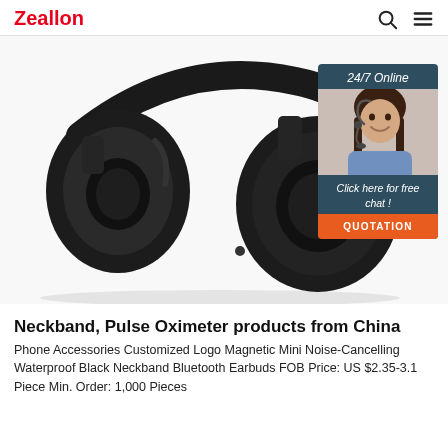Zeallon
[Figure (photo): Close-up photo of black over-ear Bluetooth headphones on white background, with a customer service chat widget overlay in the top right showing '24/7 Online', a photo of a female customer service agent with a headset, 'Click here for free chat!' text, and an orange QUOTATION button.]
Neckband, Pulse Oximeter products from China
Phone Accessories Customized Logo Magnetic Mini Noise-Cancelling Waterproof Black Neckband Bluetooth Earbuds FOB Price: US $2.35-3.1 Piece Min. Order: 1,000 Pieces